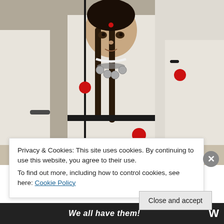[Figure (photo): A young girl in traditional white ceremonial dress with black braided hair adorned with a red bindi, wearing coin necklace and red tassels, surrounded by adults also in white traditional clothing with red tassels on black cords.]
Privacy & Cookies: This site uses cookies. By continuing to use this website, you agree to their use.
To find out more, including how to control cookies, see here: Cookie Policy
Close and accept
We all have them!